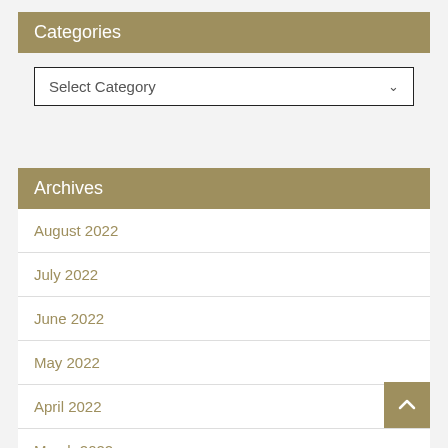Categories
Select Category
Archives
August 2022
July 2022
June 2022
May 2022
April 2022
March 2022
February 2022
January 2022